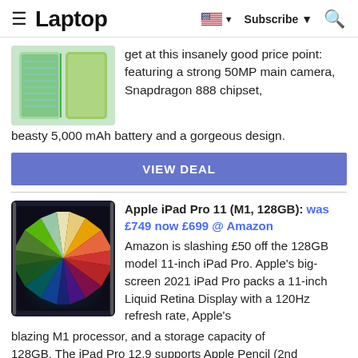Laptop | Subscribe | Search
get at this insanely good price point: featuring a strong 50MP main camera, Snapdragon 888 chipset, beasty 5,000 mAh battery and a gorgeous design.
VIEW DEAL
Apple iPad Pro 11 (M1, 128GB): was £749 now £699 @ Amazon
Amazon is slashing £50 off the 128GB model 11-inch iPad Pro. Apple's big-screen 2021 iPad Pro packs a 11-inch Liquid Retina Display with a 120Hz refresh rate, Apple's blazing M1 processor, and a storage capacity of 128GB. The iPad Pro 12.9 supports Apple Pencil (2nd